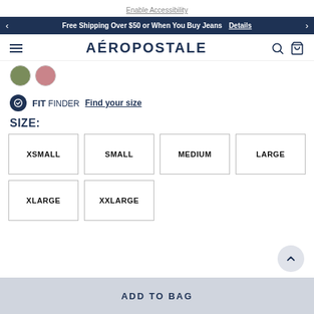Enable Accessibility
Free Shipping Over $50 or When You Buy Jeans  Details
AÉROPOSTALE
[Figure (other): Two small color swatches: olive green circle and pink/mauve circle]
FIT FINDER  Find your size
SIZE:
XSMALL  SMALL  MEDIUM  LARGE  XLARGE  XXLARGE
ADD TO BAG